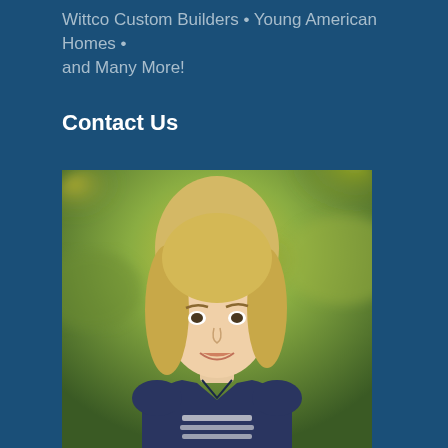Wittco Custom Builders • Young American Homes • and Many More!
Contact Us
[Figure (photo): Professional headshot of a young blonde woman smiling, wearing a navy blue top with white stripes, photographed outdoors with blurred green and yellow foliage in the background.]